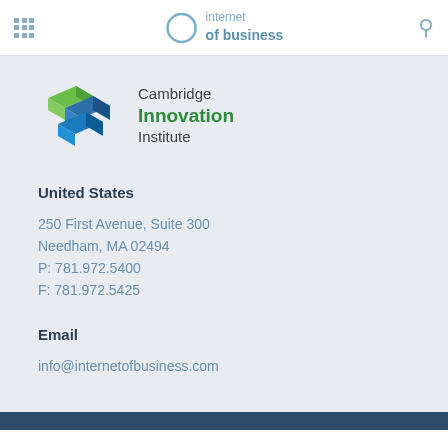internet of business — navigation bar with grid menu and search icon
[Figure (logo): Cambridge Innovation Institute logo with colorful 3D cube shapes and text 'Cambridge Innovation Institute']
United States
250 First Avenue, Suite 300
Needham, MA 02494
P: 781.972.5400
F: 781.972.5425
Email
info@internetofbusiness.com